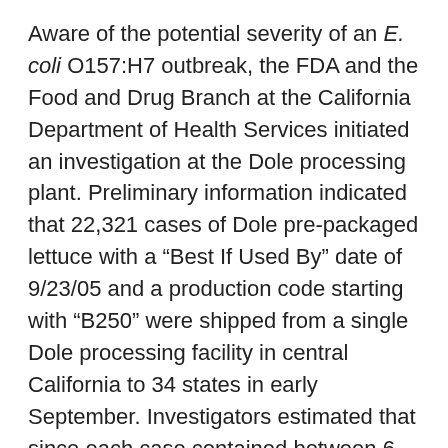Aware of the potential severity of an E. coli O157:H7 outbreak, the FDA and the Food and Drug Branch at the California Department of Health Services initiated an investigation at the Dole processing plant. Preliminary information indicated that 22,321 cases of Dole pre-packaged lettuce with a “Best If Used By” date of 9/23/05 and a production code starting with “B250” were shipped from a single Dole processing facility in central California to 34 states in early September. Investigators estimated that since each case contained between 6 and 12 bags, approximately 244,866 bags of lettuce had made it to market.
On October 11, 2005 the MDH counted 23 laboratory confirmed cases of E. coli O157:H7 and seven epidemiologically linked cases. Illness onset dates